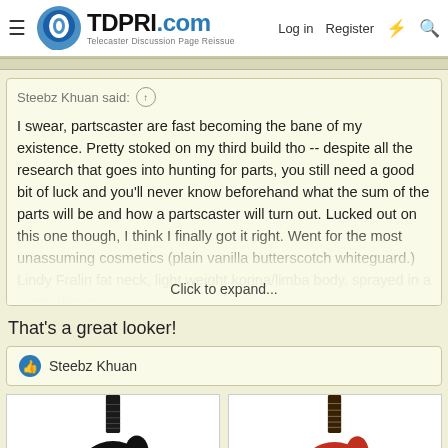TDPRI.com — Telecaster Discussion Page Reissue | Log in | Register
Steebz Khuan said: ↑

I swear, partscaster are fast becoming the bane of my existence. Pretty stoked on my third build tho -- despite all the research that goes into hunting for parts, you still need a good bit of luck and you'll never know beforehand what the sum of the parts will be and how a partscaster will turn out. Lucked out on this one though, I think I finally got it right. Went for the most unassuming cosmetics (plain vanilla butterscotch whiteguard.) Lindy Fralin fat neck, light weight korina/limba body, sprayed in a super thin coat to allow... lazy man so I didn't...

Click to expand...
That's a great looker!
👍 Steebz Khuan
[Figure (photo): Black Telecaster-style acoustic-electric guitar with round soundhole]
[Figure (photo): Red/orange Telecaster-style acoustic-electric guitar with round soundhole]